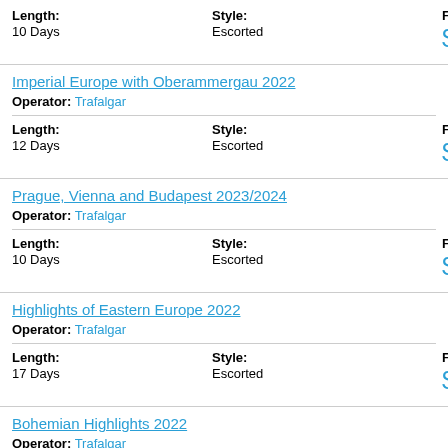| Length | Style | From |
| --- | --- | --- |
| 10 Days | Escorted | $2,065 |
Imperial Europe with Oberammergau 2022
Operator: Trafalgar
| Length | Style | From |
| --- | --- | --- |
| 12 Days | Escorted | $3,850 |
Prague, Vienna and Budapest 2023/2024
Operator: Trafalgar
| Length | Style | From |
| --- | --- | --- |
| 10 Days | Escorted | $1,732 |
Highlights of Eastern Europe 2022
Operator: Trafalgar
| Length | Style | From |
| --- | --- | --- |
| 17 Days | Escorted | $3,712 |
Bohemian Highlights 2022
Operator: Trafalgar
| Length | Style | From |
| --- | --- | --- |
| 14 Days | Escorted | $3,123 |